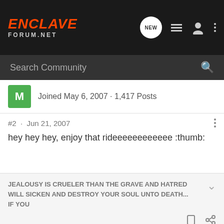[Figure (logo): Enclave Forum.net logo in orange/white on dark background navigation bar with icons]
Search Community
Joined May 6, 2007 · 1,417 Posts
#2 · Jun 21, 2007
hey hey hey, enjoy that rideeeeeeeeeeee :thumb:
JEALOUSY IS CRUELER THAN THE GRAVE AND HATRED WILL SICKEN AND DESTROY YOUR SOUL UNTO DEATH...  IF YOU
coopermine · Premium Member